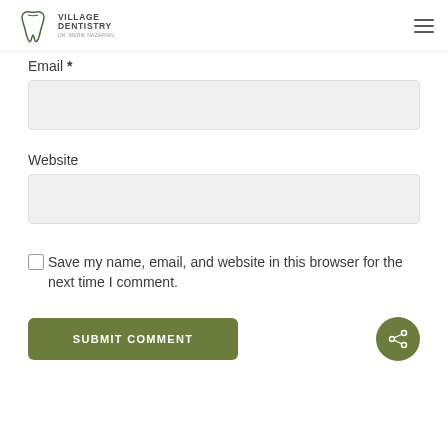[Figure (logo): Village Dentistry logo with tooth icon and text 'VILLAGE DENTISTRY DR. MERIK NAZARIAN']
Email *
Website
Save my name, email, and website in this browser for the next time I comment.
SUBMIT COMMENT